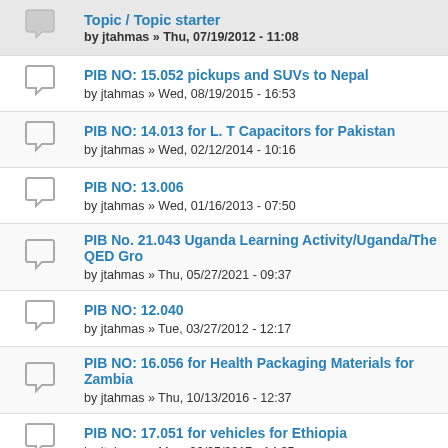Topic / Topic starter
PIB NO: 15.052 pickups and SUVs to Nepal
by jtahmas » Wed, 08/19/2015 - 16:53
PIB NO: 14.013 for L. T Capacitors for Pakistan
by jtahmas » Wed, 02/12/2014 - 10:16
PIB NO: 13.006
by jtahmas » Wed, 01/16/2013 - 07:50
PIB No. 21.043 Uganda Learning Activity/Uganda/The QED Gro
by jtahmas » Thu, 05/27/2021 - 09:37
PIB NO: 12.040
by jtahmas » Tue, 03/27/2012 - 12:17
PIB NO: 16.056 for Health Packaging Materials for Zambia
by jtahmas » Thu, 10/13/2016 - 12:37
PIB NO: 17.051 for vehicles for Ethiopia
by jtahmas » Mon, 06/05/2017 - 14:35
PIB NO: 12.145